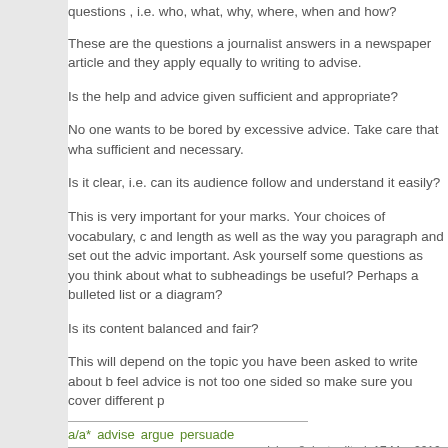questions , i.e. who, what, why, where, when and how?
These are the questions a journalist answers in a newspaper article and they apply equally to writing to advise.
Is the help and advice given sufficient and appropriate?
No one wants to be bored by excessive advice. Take care that what you advise is sufficient and necessary.
Is it clear, i.e. can its audience follow and understand it easily?
This is very important for your marks. Your choices of vocabulary, of sentences and length as well as the way you paragraph and set out the advice are all very important. Ask yourself some questions as you think about what to write. Would subheadings be useful? Perhaps a bulleted list or a diagram?
Is its content balanced and fair?
This will depend on the topic you have been asked to write about but try not to feel advice is not too one sided so make sure you cover different p
a/a*  advise  argue  persuade
page revision: 8, last edited: 17 Mar 2010,
Edit  Tags  History  Files  Print  Site